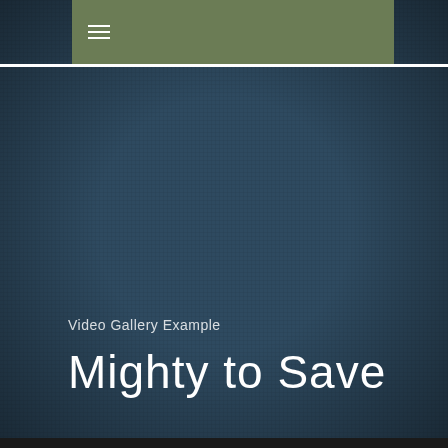[Figure (screenshot): Website header screenshot showing a dark blue-grey textured background with an olive green navigation bar at the top containing a hamburger menu icon. Text overlay reads 'Video Gallery Example' and 'Mighty to Save'.]
Video Gallery Example
Mighty to Save